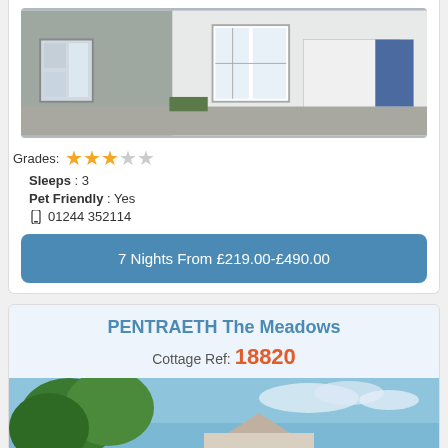[Figure (photo): Exterior photo of a white stone cottage with multiple windows and a driveway]
Grades: ★★★☆☆
Sleeps : 3
Pet Friendly : Yes
📱 01244 352114
7 Nights From £219.00-£490.00
PENTRAETH The Meadows
Cottage Ref: 18820
[Figure (photo): Exterior photo of a cottage with trees and blue sky]